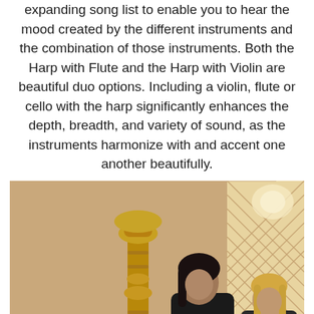expanding song list to enable you to hear the mood created by the different instruments and the combination of those instruments. Both the Harp with Flute and the Harp with Violin are beautiful duo options. Including a violin, flute or cello with the harp significantly enhances the depth, breadth, and variety of sound, as the instruments harmonize with and accent one another beautifully.
[Figure (photo): Two women musicians performing in a warmly lit venue with a decorative lattice window in the background. One woman with dark hair is playing a flute, wearing black. Another woman with blonde hair is visible behind her. A tall ornate gold candlestick stand is prominent on the left side.]